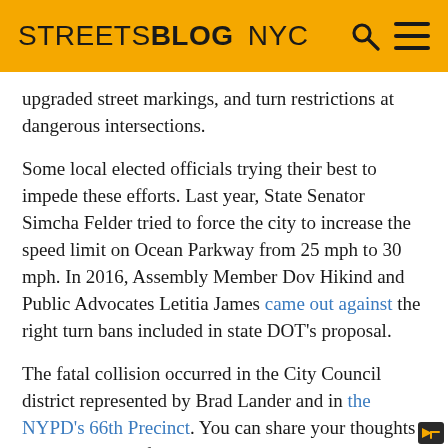STREETSBLOG NYC
upgraded street markings, and turn restrictions at dangerous intersections.
Some local elected officials trying their best to impede these efforts. Last year, State Senator Simcha Felder tried to force the city to increase the speed limit on Ocean Parkway from 25 mph to 30 mph. In 2016, Assembly Member Dov Hikind and Public Advocates Letitia James came out against the right turn bans included in state DOT's proposal.
The fatal collision occurred in the City Council district represented by Brad Lander and in the NYPD's 66th Precinct. You can share your thoughts on pedestrian safety in the district at the precinct's next